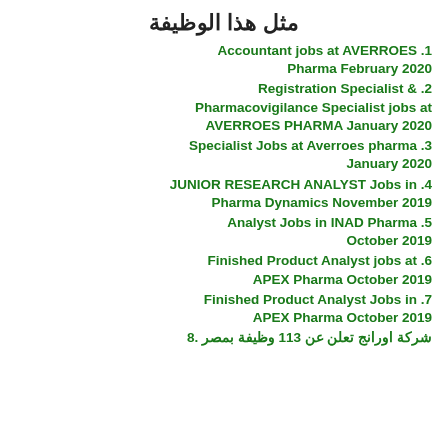مثل هذا الوظيفة
.1 Accountant jobs at AVERROES Pharma February 2020
.2 Registration Specialist & Pharmacovigilance Specialist jobs at AVERROES PHARMA January 2020
.3 Specialist Jobs at Averroes pharma January 2020
.4 JUNIOR RESEARCH ANALYST Jobs in Pharma Dynamics November 2019
.5 Analyst Jobs in INAD Pharma October 2019
.6 Finished Product Analyst jobs at APEX Pharma October 2019
.7 Finished Product Analyst Jobs in APEX Pharma October 2019
.8 شركة اورانج تعلن عن 113 وظيفة بمصر